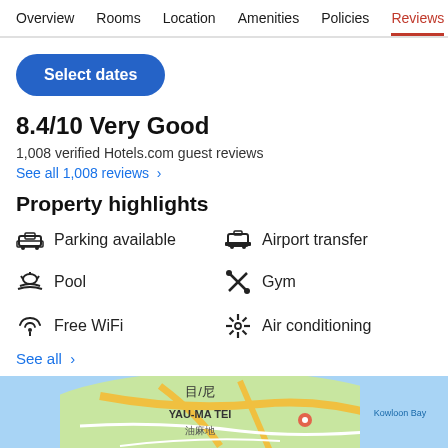Overview  Rooms  Location  Amenities  Policies  Reviews
Select dates
8.4/10 Very Good
1,008 verified Hotels.com guest reviews
See all 1,008 reviews  >
Property highlights
Parking available
Airport transfer
Pool
Gym
Free WiFi
Air conditioning
See all  >
[Figure (map): Map showing YAU-MA TEI area with Chinese characters 油麻地, and Kowloon Bay label visible]